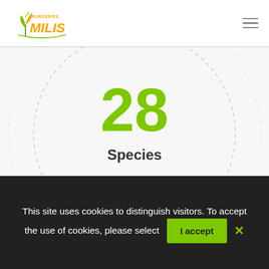[Figure (logo): Nurseries Milis logo with orange plant/leaf icon and orange/green text]
[Figure (infographic): Large dashed circle with '28' in green and 'Species' label below, plus partial second circle at bottom]
This site uses cookies to distinguish visitors. To accept the use of cookies, please select
I accept